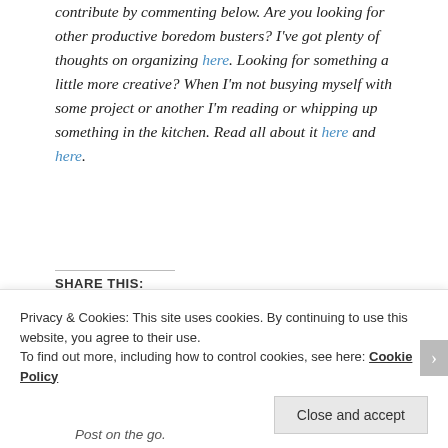contribute by commenting below. Are you looking for other productive boredom busters? I've got plenty of thoughts on organizing here. Looking for something a little more creative? When I'm not busying myself with some project or another I'm reading or whipping up something in the kitchen. Read all about it here and here.
SHARE THIS:
[Figure (other): Share buttons for Twitter and Facebook]
Privacy & Cookies: This site uses cookies. By continuing to use this website, you agree to their use. To find out more, including how to control cookies, see here: Cookie Policy
Close and accept
Post on the go.